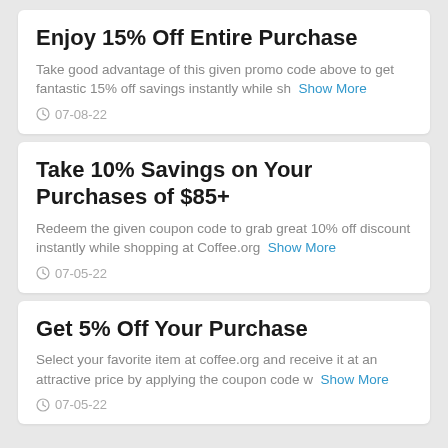Enjoy 15% Off Entire Purchase
Take good advantage of this given promo code above to get fantastic 15% off savings instantly while sh… Show More
07-08-22
Take 10% Savings on Your Purchases of $85+
Redeem the given coupon code to grab great 10% off discount instantly while shopping at Coffee.org… Show More
07-05-22
Get 5% Off Your Purchase
Select your favorite item at coffee.org and receive it at an attractive price by applying the coupon code w… Show More
07-05-22